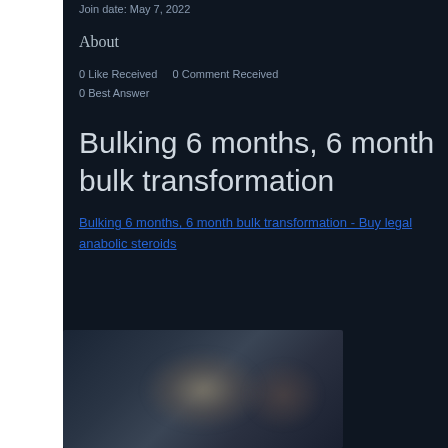Join date: May 7, 2022
About
0 Like Received    0 Comment Received
0 Best Answer
Bulking 6 months, 6 month bulk transformation
Bulking 6 months, 6 month bulk transformation - Buy legal anabolic steroids
[Figure (photo): Blurred photo, dark background with indistinct shapes]